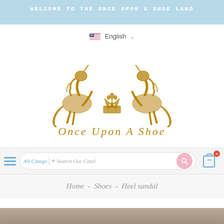WELCOME TO THE ONCE UPON A SHOE LAND
SHOP NOW
English ▾
[Figure (logo): Once Upon A Shoe logo with two rearing unicorns flanking a crown and fleur-de-lis, with decorative text reading 'Once Upon A Shoe']
All Catego  Search Our Catal
Home - Shoes - Heel sandal
[Figure (photo): Bottom edge of a product photo partially visible]